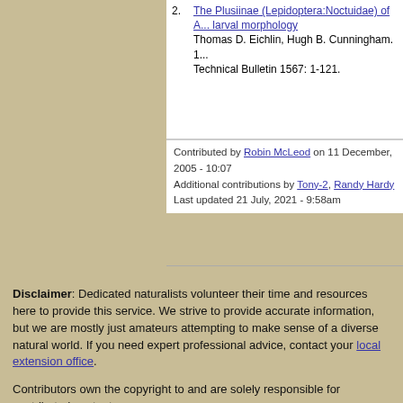The Plusiinae (Lepidoptera:Noctuidae) of A... larval morphology
Thomas D. Eichlin, Hugh B. Cunningham. 1... Technical Bulletin 1567: 1-121.
Contributed by Robin McLeod on 11 December, 2005 - 10:07
Additional contributions by Tony-2, Randy Hardy
Last updated 21 July, 2021 - 9:58am
Disclaimer: Dedicated naturalists volunteer their time and resources here to provide this service. We strive to provide accurate information, but we are mostly just amateurs attempting to make sense of a diverse natural world. If you need expert professional advice, contact your local extension office.
Contributors own the copyright to and are solely responsible for contributed content.
Click the contributor's name for licensing and usage information.
Everything else copyright © 2003-2022 Iowa State University, unless otherwise noted.
Bugguide is hosted by:
[Figure (logo): Iowa State University Department of Entomology logo]
Printer Friendly Version